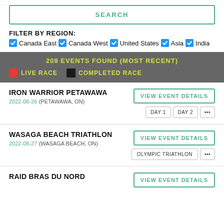SEARCH
FILTER BY REGION:
Canada East | Canada West | United States | Asia | India
209 EVENTS FOUND (MOST RECENT)
LIVE RACE   COMPLETED RACE
IRON WARRIOR PETAWAWA
2022-08-26 (PETAWAWA, ON)
VIEW EVENT DETAILS
DAY 1 | DAY 2 | ...
WASAGA BEACH TRIATHLON
2022-08-27 (WASAGA BEACH, ON)
VIEW EVENT DETAILS
OLYMPIC TRIATHLON | ...
RAID BRAS DU NORD
VIEW EVENT DETAILS